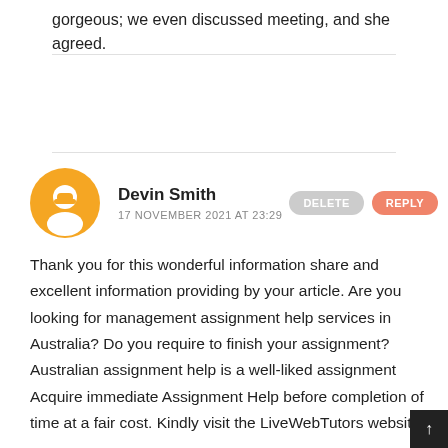gorgeous; we even discussed meeting, and she agreed.
Devin Smith
17 NOVEMBER 2021 AT 23:29

Thank you for this wonderful information share and excellent information providing by your article. Are you looking for management assignment help services in Australia? Do you require to finish your assignment? Australian assignment help is a well-liked assignment Acquire immediate Assignment Help before completion of time at a fair cost. Kindly visit the LiveWebTutors website…